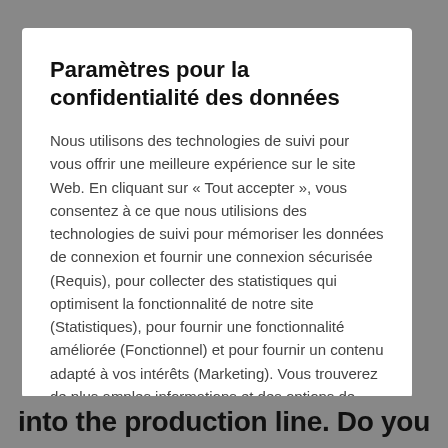Paramètres pour la confidentialité des données
Nous utilisons des technologies de suivi pour vous offrir une meilleure expérience sur le site Web. En cliquant sur « Tout accepter », vous consentez à ce que nous utilisions des technologies de suivi pour mémoriser les données de connexion et fournir une connexion sécurisée (Requis), pour collecter des statistiques qui optimisent la fonctionnalité de notre site (Statistiques), pour fournir une fonctionnalité améliorée (Fonctionnel) et pour fournir un contenu adapté à vos intérêts (Marketing). Vous trouverez de plus amples informations et des options de personnalisation
into the production line. Do you